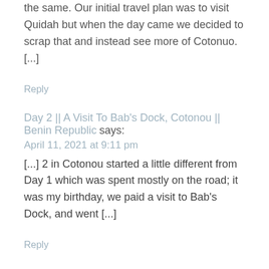the same. Our initial travel plan was to visit Quidah but when the day came we decided to scrap that and instead see more of Cotonuo. [...]
Reply
Day 2 || A Visit To Bab's Dock, Cotonou || Benin Republic says:
April 11, 2021 at 9:11 pm
[...] 2 in Cotonou started a little different from Day 1 which was spent mostly on the road; it was my birthday, we paid a visit to Bab's Dock, and went [...]
Reply
Room Tour || What My Airbnb